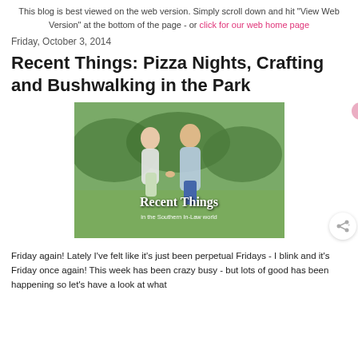This blog is best viewed on the web version. Simply scroll down and hit "View Web Version" at the bottom of the page - or click for our web home page
Friday, October 3, 2014
Recent Things: Pizza Nights, Crafting and Bushwalking in the Park
[Figure (photo): A couple walking hand-in-hand in a grassy outdoor area with bushes in the background. Text overlay reads 'Recent Things in the Southern In-Law world'.]
Friday again! Lately I've felt like it's just been perpetual Fridays - I blink and it's Friday once again! This week has been crazy busy - but lots of good has been happening so let's have a look at what